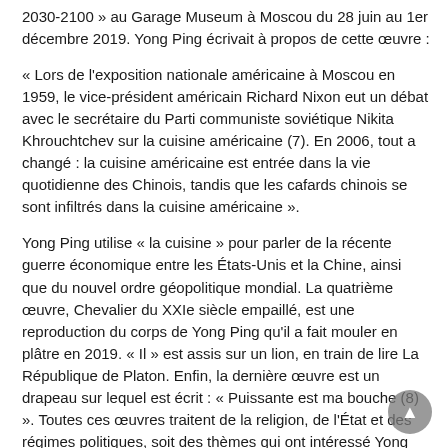2030-2100 » au Garage Museum à Moscou du 28 juin au 1er décembre 2019. Yong Ping écrivait à propos de cette œuvre :
« Lors de l'exposition nationale américaine à Moscou en 1959, le vice-président américain Richard Nixon eut un débat avec le secrétaire du Parti communiste soviétique Nikita Khrouchtchev sur la cuisine américaine (7). En 2006, tout a changé : la cuisine américaine est entrée dans la vie quotidienne des Chinois, tandis que les cafards chinois se sont infiltrés dans la cuisine américaine ».
Yong Ping utilise « la cuisine » pour parler de la récente guerre économique entre les États-Unis et la Chine, ainsi que du nouvel ordre géopolitique mondial. La quatrième œuvre, Chevalier du XXIe siècle empaillé, est une reproduction du corps de Yong Ping qu'il a fait mouler en plâtre en 2019. « Il » est assis sur un lion, en train de lire La République de Platon. Enfin, la dernière œuvre est un drapeau sur lequel est écrit : « Puissante est ma bouche (8) ». Toutes ces œuvres traitent de la religion, de l'État et des régimes politiques, soit des thèmes qui ont intéressé Yong Ping durant ces dernières années. Rappeler l'histoire du débat entre Nixon et Khrouchtchev sur les avantages et défauts du capitalisme et communisme revêt une signification profonde